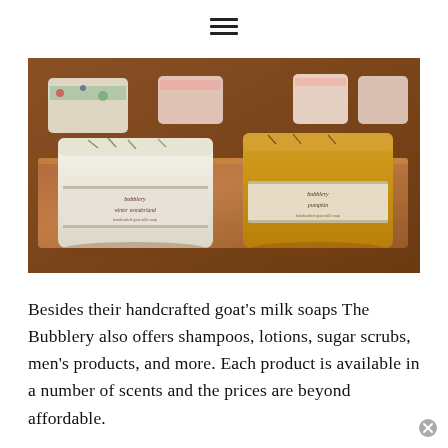[Figure (other): Hamburger/menu icon with three horizontal bars, centered at top of page]
[Figure (photo): Photo of handcrafted goat's milk soap bars with decorative labels reading 'Bubblery winter wonderland' and 'Bubblery pumpkin', displayed on a wooden board with other soap bars in the background]
Besides their handcrafted goat's milk soaps The Bubblery also offers shampoos, lotions, sugar scrubs, men's products, and more. Each product is available in a number of scents and the prices are beyond affordable.
[Figure (other): Small circular close/dismiss button (X icon) at bottom right corner]